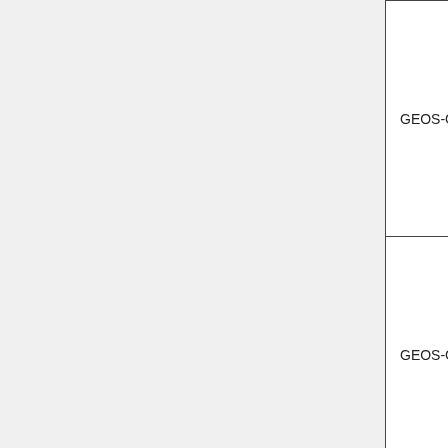| Model | Institution | Description |
| --- | --- | --- |
| GEOS-Chem/GEOS-5 | Harvard | c...
al...
ac...
m...
C... |
| GEOS-Chem | Harvard | E...
o...
p...
U...
a...
q... |
| GEOS-Chem | MIT | T...
o...
la...
ch...
gl...
q... |
| GEOS-Ch... | MIT | E...
o... |